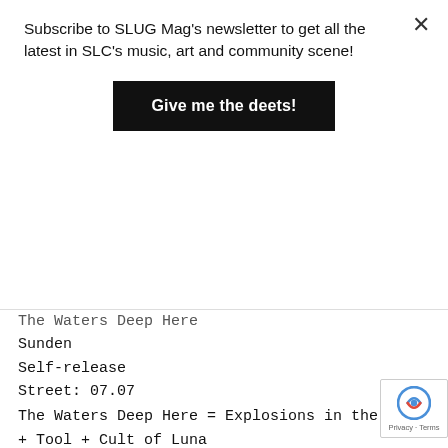Subscribe to SLUG Mag's newsletter to get all the latest in SLC's music, art and community scene!
Give me the deets!
The Waters Deep Here
Sunden
Self-release
Street: 07.07
The Waters Deep Here = Explosions in the Sky + Tool + Cult of Luna
“Ambitious as fuck” are the first few words that came to mind when I listened to this for the first time. Sunden is three tracks ranging between 12 and almost 28 minutes in length, bookended by intro a outro tracks, and separated by short bu effective interludes. The album has no